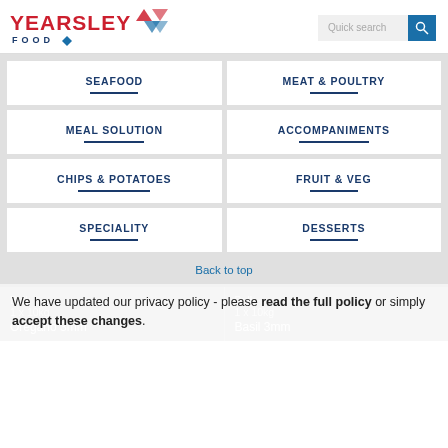Yearsley Food — Quick search
SEAFOOD
MEAT & POULTRY
MEAL SOLUTION
ACCOMPANIMENTS
CHIPS & POTATOES
FRUIT & VEG
SPECIALITY
DESSERTS
Back to top
Bulk
1 x 10kg
Oregano 3mm
Bulk
1 x 10kg
Basil 3mm
We have updated our privacy policy - please read the full policy or simply accept these changes.